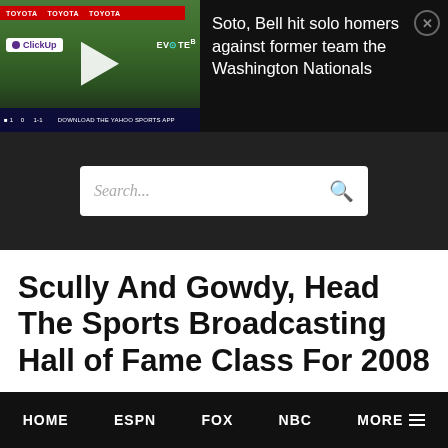[Figure (screenshot): Video thumbnail of a baseball game with a play button, Toyota sponsorship bar, ClickUp and EVO Tek logos, and a scoreboard at the bottom.]
Soto, Bell hit solo homers against former team the Washington Nationals
Search...
Scully And Gowdy, Head The Sports Broadcasting Hall of Fame Class For 2008
HOME   ESPN   FOX   NBC   MORE